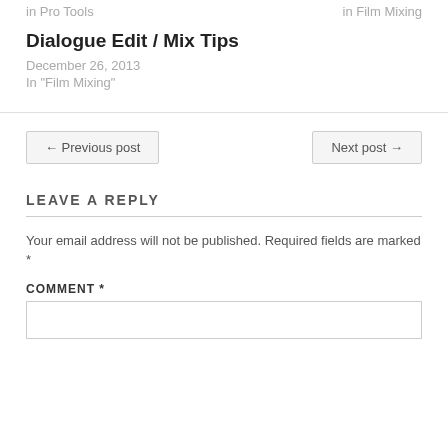in  Pro Tools     in  Film Mixing
Dialogue Edit / Mix Tips
December 26, 2013
In "Film Mixing"
← Previous post
Next post →
LEAVE A REPLY
Your email address will not be published. Required fields are marked *
COMMENT *